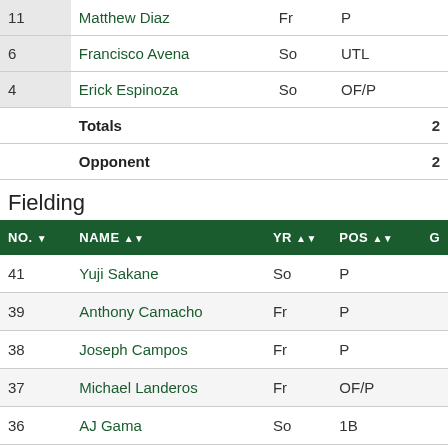| NO. | NAME | YR | POS |  |
| --- | --- | --- | --- | --- |
| 11 | Matthew Diaz | Fr | P |  |
| 6 | Francisco Avena | So | UTL |  |
| 4 | Erick Espinoza | So | OF/P |  |
|  | Totals |  |  | 2 |
|  | Opponent |  |  | 2 |
Fielding
| NO. | NAME | YR | POS | G |
| --- | --- | --- | --- | --- |
| 41 | Yuji Sakane | So | P |  |
| 39 | Anthony Camacho | Fr | P |  |
| 38 | Joseph Campos | Fr | P |  |
| 37 | Michael Landeros | Fr | OF/P |  |
| 36 | AJ Gama | So | 1B |  |